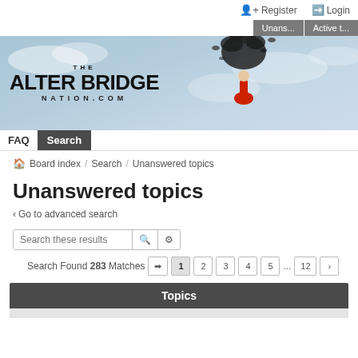Register  Login
Unans...  Active t...
[Figure (illustration): The Alter Bridge Nation.com banner with cloudy sky background and figure with dark birds/ravens emanating from head]
FAQ  Search
Board index / Search / Unanswered topics
Unanswered topics
< Go to advanced search
Search these results
Search Found 283 Matches  1  2  3  4  5  ...  12  >
Topics